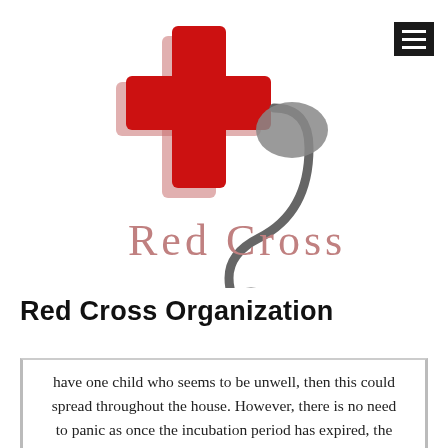[Figure (logo): Red Cross Organization logo: a red medical cross with a pink shadow, overlaid with a gray stethoscope. Text 'Red Cross' in pink/rose serif font beneath the cross.]
Red Cross Organization
have one child who seems to be unwell, then this could spread throughout the house. However, there is no need to panic as once the incubation period has expired, the illness would disappear within a few days — although you would need to ensure that